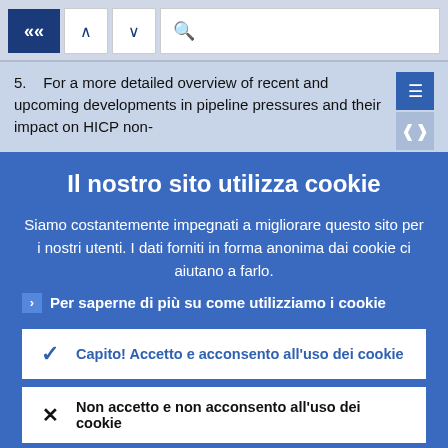[Figure (screenshot): Browser toolbar with back button (<<), up/down navigation arrows, and search bar with magnifying glass icon]
5. For a more detailed overview of recent and upcoming developments in pipeline pressures and their impact on HICP non-
Il nostro sito utilizza cookie
Siamo costantemente impegnati a migliorare questo sito per i nostri utenti. I dati forniti in forma anonima dai cookie ci aiutano a farlo.
Per saperne di più su come utilizziamo i cookie
Capito! Accetto e acconsento all'uso dei cookie
Non accetto e non acconsento all'uso dei cookie